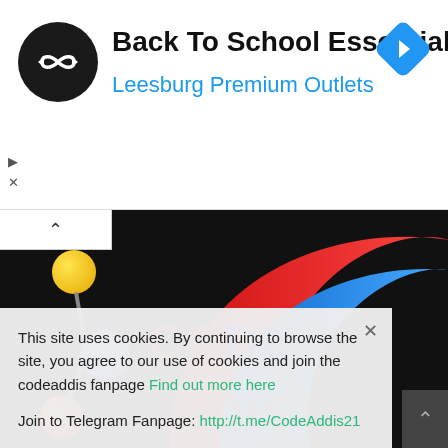[Figure (screenshot): Advertisement banner for Back To School Essentials at Leesburg Premium Outlets, with a black circular logo with infinity-like arrows icon, blue navigation arrow diamond icon on right, and ad controls (play/close buttons) on left.]
Back To School Essentials
Leesburg Premium Outlets
[Figure (logo): CodeAddis logo on dark background: colorful molecule-like graphic on left with yellow, blue, and orange/red spheres connected; large stylized 'CODE' text in red and blue, partial 'ADDIS' text visible at bottom in dark red.]
This site uses cookies. By continuing to browse the site, you agree to our use of cookies and join the codeaddis fanpage Find out more here
Join to Telegram Fanpage: http://t.me/CodeAddis21